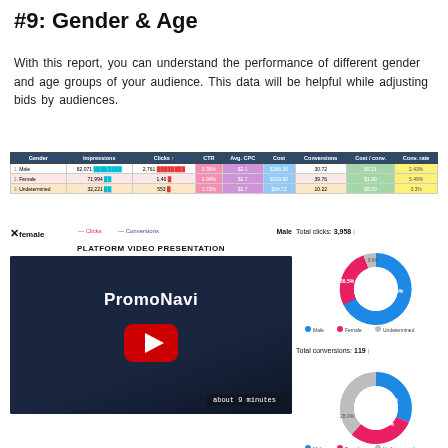#9: Gender & Age
With this report, you can understand the performance of different gender and age groups of your audience. This data will be helpful while adjusting bids by audiences.
| Gender | Impressions | Clicks ↑ | CTR | Avg. CPC | Cost | Conversions | Cost / conv. | Conv. rate |
| --- | --- | --- | --- | --- | --- | --- | --- | --- |
| Male | 82,071 | 2,761 | 3.36% | $2.1 | $166.26 | 30.72 | $5.21 | 2.43% |
| Female | 71,994 | 1,46 | 2.99% | $2.7 | $329.90 | 39.76 | $1.00 | 5.49% |
| Undetermined | 32,221 | 553 | 1.72% | $2.7 | $84.72 | 10.22 | $8.00 | 3.3% |
[Figure (screenshot): Platform video presentation screen showing PromoNavi YouTube video thumbnail with play button and 'about 9 minutes' duration label]
[Figure (donut-chart): Total clicks: 3,958]
[Figure (donut-chart): Total conversions: 119]